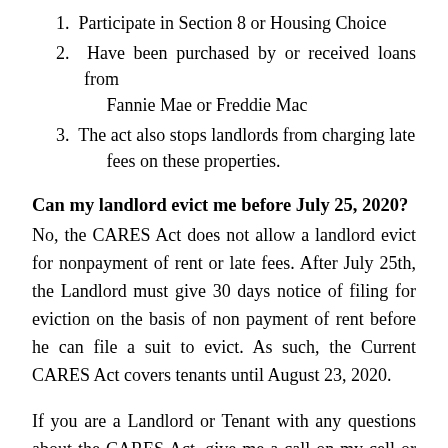1. Participate in Section 8 or Housing Choice
2. Have been purchased by or received loans from Fannie Mae or Freddie Mac
3. The act also stops landlords from charging late fees on these properties.
Can my landlord evict me before July 25, 2020?
No, the CARES Act does not allow a landlord evict for nonpayment of rent or late fees. After July 25th, the Landlord must give 30 days notice of filing for eviction on the basis of non payment of rent before he can file a suit to evict. As such, the Current CARES Act covers tenants until August 23, 2020.
If you are a Landlord or Tenant with any questions about the CARES Act, give me a call on my cell or text